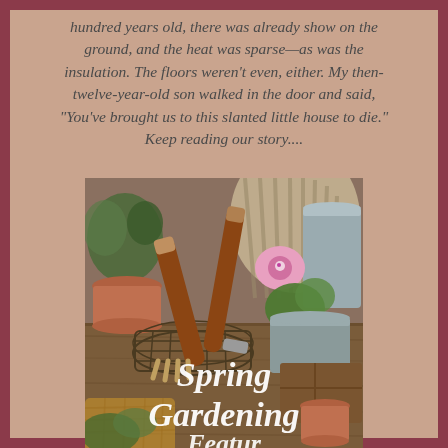hundred years old, there was already show on the ground, and the heat was sparse—as was the insulation. The floors weren't even, either. My then-twelve-year-old son walked in the door and said, "You've brought us to this slanted little house to die."
Keep reading our story....
[Figure (photo): Spring Gardening promotional image showing garden tools including a cultivator fork and hand tools in a wire basket, terracotta pots, potted plants including an orchid, on a wooden surface. Text overlay reads 'Spring Gardening' in white script.]